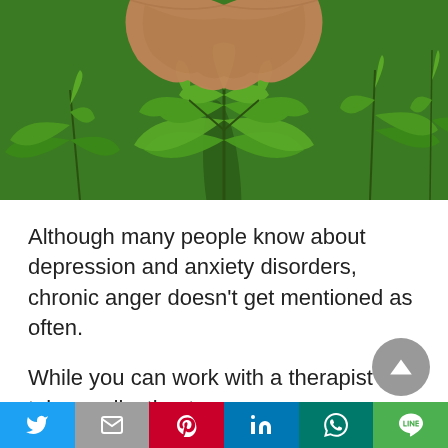[Figure (photo): A hand holding/cupping green cannabis plant leaves from above, with more cannabis plants visible in the background]
Although many people know about depression and anxiety disorders, chronic anger doesn't get mentioned as often.
While you can work with a therapist and take medication to manage your anger, not everyone